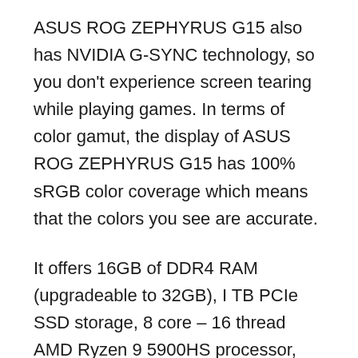ASUS ROG ZEPHYRUS G15 also has NVIDIA G-SYNC technology, so you don't experience screen tearing while playing games. In terms of color gamut, the display of ASUS ROG ZEPHYRUS G15 has 100% sRGB color coverage which means that the colors you see are accurate.
It offers 16GB of DDR4 RAM (upgradeable to 32GB), I TB PCIe SSD storage, 8 core – 16 thread AMD Ryzen 9 5900HS processor, and NVIDIA GeForce RTX 3060 with 6 GB GDDR6 that can deliver up to 95W of power when needed.
The CPU on this machine runs at 3.0 GHz, but it also features a Max Turbo Frequency of 4.6 GHz, so you